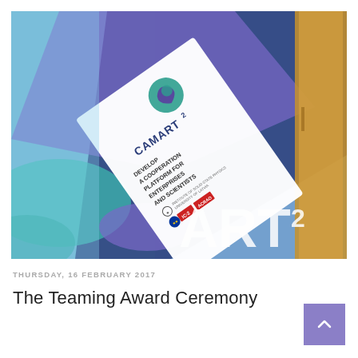[Figure (photo): Photo of a CAMART2 promotional banner/brochure showing the logo and text: CAMART2, DEVELOP A COOPERATION PLATFORM FOR ENTERPRISES AND SCIENTISTS, with EU and partner logos, set against a blue/purple decorative background display stand.]
THURSDAY, 16 FEBRUARY 2017
The Teaming Award Ceremony